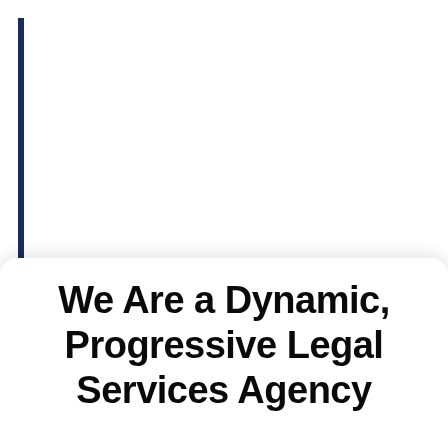We Are a Dynamic, Progressive Legal Services Agency